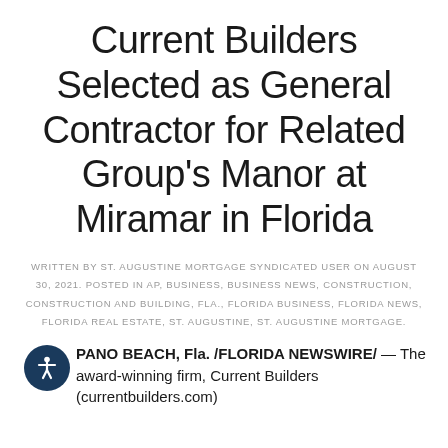Current Builders Selected as General Contractor for Related Group’s Manor at Miramar in Florida
WRITTEN BY ST. AUGUSTINE MORTGAGE SYNDICATED USER ON AUGUST 30, 2021. POSTED IN AP, BUSINESS, BUSINESS NEWS, CONSTRUCTION, CONSTRUCTION AND BUILDING, FLA., FLORIDA BUSINESS, FLORIDA NEWS, FLORIDA REAL ESTATE, ST. AUGUSTINE, ST. AUGUSTINE MORTGAGE.
PANO BEACH, Fla. /FLORIDA NEWSWIRE/ — The award-winning firm, Current Builders (currentbuilders.com)